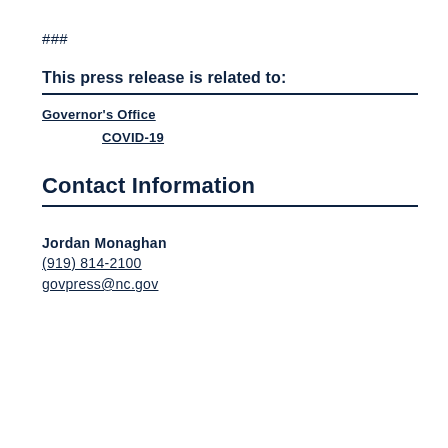###
This press release is related to:
Governor's Office
COVID-19
Contact Information
Jordan Monaghan
(919) 814-2100
govpress@nc.gov